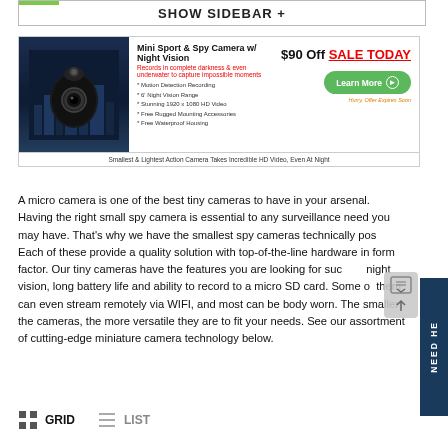SHOW SIDEBAR +
[Figure (photo): Advertisement banner for Mini Sport & Spy Camera with Night Vision. Shows a small black action camera against a city night skyline background. Ad reads: Mini Sport & Spy Camera w/ Night Vision. Records in complete darkness & even underwater to capture impossible moments. Features: Motion Detection Recording, 6' Night Vision Range, Stunning 1920x1080 HD Video, Free Rugged Mounting Accessories, Free Waterproof Housing. $90 Off SALE TODAY. Learn More button. Hurry, Offer Expires Soon. Smallest & Lightest Action Camera Takes Incredible HD Video, Even At Night.]
A micro camera is one of the best tiny cameras to have in your arsenal. Having the right small spy camera is essential to any surveillance need you may have. That's why we have the smallest spy cameras technically possible. Each of these provide a quality solution with top-of-the-line hardware in a small form factor. Our tiny cameras have the features you are looking for such as night vision, long battery life and ability to record to a micro SD card. Some of them can even stream remotely via WIFI, and most can be body worn. The smaller the cameras, the more versatile they are to fit your needs. See our assortment of cutting-edge miniature camera technology below.
GRID
LIST